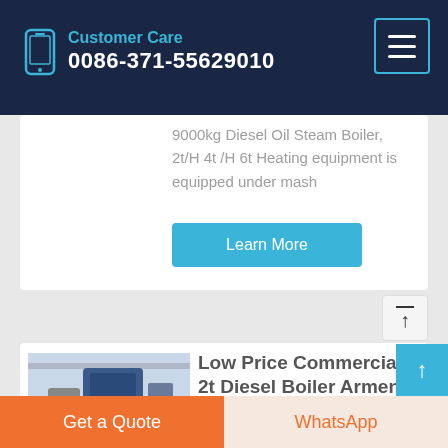Customer Care 0086-371-55629010
9000kg Diesel Oil Steam Boiler, 2t/H 4t /H 6t Heating equipment is equipped under mash
Learn More
[Figure (photo): Industrial boiler equipment in a factory building, showing a large blue boiler unit]
Low Price Commercial 2t Diesel Boiler Armenia
Get a Quote
WhatsApp